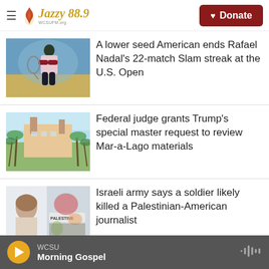Jazzy 88.9 WCSU – Donate
[Figure (photo): Tennis player in action at a match]
A lower seed American ends Rafael Nadal's 22-match Slam streak at the U.S. Open
[Figure (photo): Mar-a-Lago estate with palm trees]
Federal judge grants Trump's special master request to review Mar-a-Lago materials
[Figure (photo): Palestine sign and portrait image at a memorial]
Israeli army says a soldier likely killed a Palestinian-American journalist
WCSU – Morning Gospel